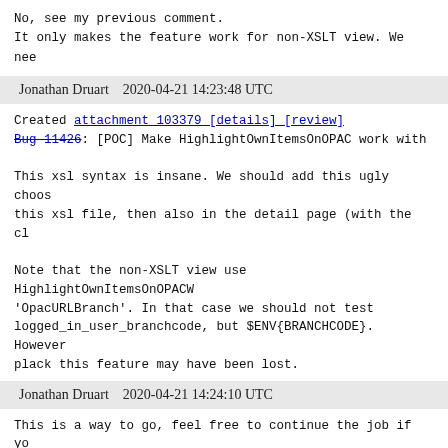No, see my previous comment.
It only makes the feature work for non-XSLT view. We nee
Jonathan Druart    2020-04-21 14:23:48 UTC
Created attachment 103379 [details] [review]
Bug 11426: [POC] Make HighlightOwnItemsOnOPAC work with

This xsl syntax is insane. We should add this ugly choos
this xsl file, then also in the detail page (with the cl

Note that the non-XSLT view use HighlightOwnItemsOnOPACW
'OpacURLBranch'. In that case we should not test
logged_in_user_branchcode, but $ENV{BRANCHCODE}. However
plack this feature may have been lost.
Jonathan Druart    2020-04-21 14:24:10 UTC
This is a way to go, feel free to continue the job if yo
Owen Leonard    2020-06-05 16:09:44 UTC
Jonathan are you unsatisfied with your solution for some
is unfinished?